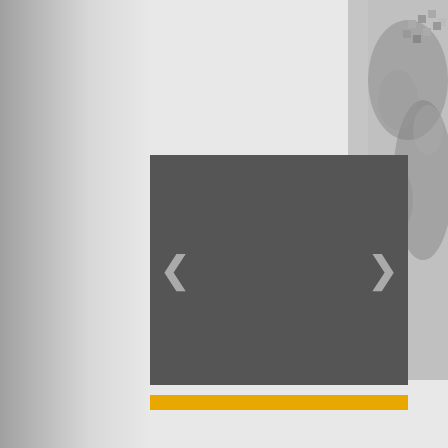[Figure (screenshot): Slideshow/carousel widget with dark grey background and left/right navigation arrows]
How does it work?
You make a request with e-mail, we send your a offer and your order by